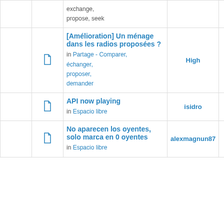|  |  | Topic | Author | Replies | Views |
| --- | --- | --- | --- | --- | --- |
|  | doc | exchange,
propose, seek |  |  |  |
|  | doc | [Amélioration] Un ménage dans les radios proposées ?
in Partage - Comparer, échanger, proposer, demander | High | 0 | 63957 |
|  | doc | API now playing
in Espacio libre | isidro | 0 | 7340 |
|  | doc | No aparecen los oyentes, solo marca en 0 oyentes
in Espacio libre | alexmagnun87 | 0 | 7608 |